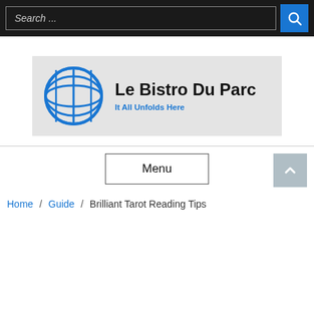Search ...
[Figure (logo): Le Bistro Du Parc logo with blue globe icon, bold black text 'Le Bistro Du Parc', and blue subtitle 'It All Unfolds Here' on a light grey background]
Menu
Home / Guide / Brilliant Tarot Reading Tips